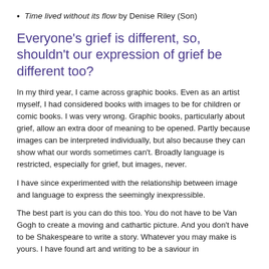Time lived without its flow by Denise Riley (Son)
Everyone's grief is different, so, shouldn't our expression of grief be different too?
In my third year, I came across graphic books. Even as an artist myself, I had considered books with images to be for children or comic books. I was very wrong. Graphic books, particularly about grief, allow an extra door of meaning to be opened. Partly because images can be interpreted individually, but also because they can show what our words sometimes can't. Broadly language is restricted, especially for grief, but images, never.
I have since experimented with the relationship between image and language to express the seemingly inexpressible.
The best part is you can do this too. You do not have to be Van Gogh to create a moving and cathartic picture. And you don't have to be Shakespeare to write a story. Whatever you may make is yours. I have found art and writing to be a saviour in